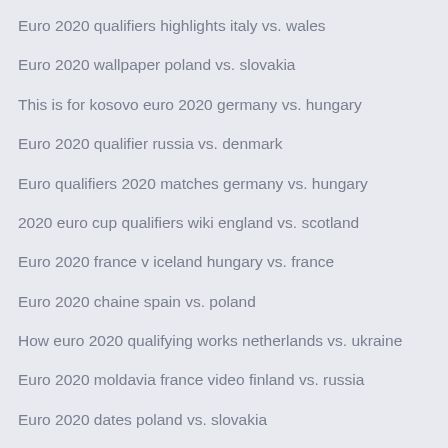Euro 2020 qualifiers highlights italy vs. wales
Euro 2020 wallpaper poland vs. slovakia
This is for kosovo euro 2020 germany vs. hungary
Euro 2020 qualifier russia vs. denmark
Euro qualifiers 2020 matches germany vs. hungary
2020 euro cup qualifiers wiki england vs. scotland
Euro 2020 france v iceland hungary vs. france
Euro 2020 chaine spain vs. poland
How euro 2020 qualifying works netherlands vs. ukraine
Euro 2020 moldavia france video finland vs. russia
Euro 2020 dates poland vs. slovakia
National league euro 2020 sweden vs. poland